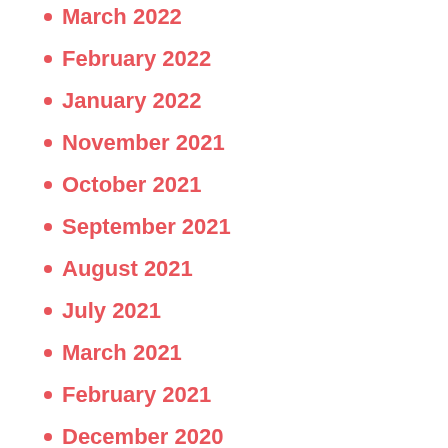March 2022
February 2022
January 2022
November 2021
October 2021
September 2021
August 2021
July 2021
March 2021
February 2021
December 2020